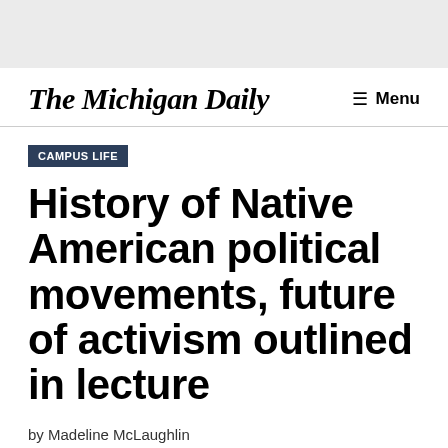The Michigan Daily | Menu
CAMPUS LIFE
History of Native American political movements, future of activism outlined in lecture
by Madeline McLaughlin
February 23, 2018